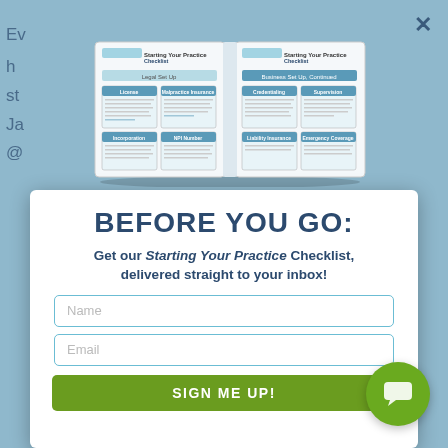[Figure (screenshot): A modal/popup dialog overlaying a webpage about iTherapy's 'Starting Your Practice Checklist'. The top portion shows a blurred background with partial text and a book image showing the checklist pages. The modal contains a 'Before You Go' lead capture form with name and email fields and a 'Sign Me Up!' button. A green chat bubble icon appears in the bottom right.]
BEFORE YOU GO:
Get our Starting Your Practice Checklist, delivered straight to your inbox!
Name
Email
SIGN ME UP!